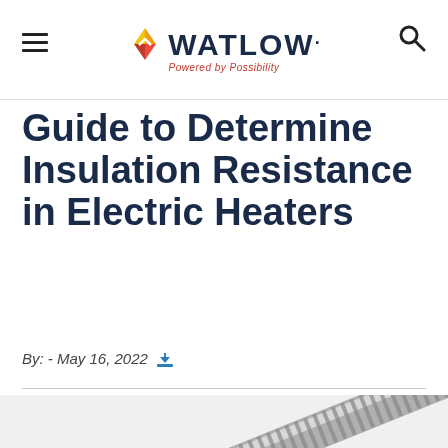Watlow — Powered by Possibility
Guide to Determine Insulation Resistance in Electric Heaters
By:  - May 16, 2022
[Figure (photo): Close-up photo of a metal tubular electric heater element, silver/metallic in color with coiled fins, shown diagonally]